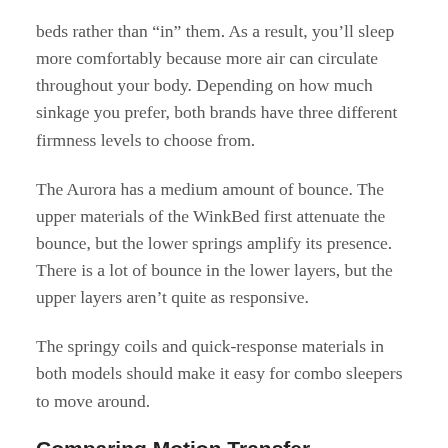beds rather than “in” them. As a result, you’ll sleep more comfortably because more air can circulate throughout your body. Depending on how much sinkage you prefer, both brands have three different firmness levels to choose from.
The Aurora has a medium amount of bounce. The upper materials of the WinkBed first attenuate the bounce, but the lower springs amplify its presence. There is a lot of bounce in the lower layers, but the upper layers aren’t quite as responsive.
The springy coils and quick-response materials in both models should make it easy for combo sleepers to move around.
Comparing Motion Transfer
Customers who sleep with a partner, a pet, or a child are more likely to select a bed with improved motion control. As